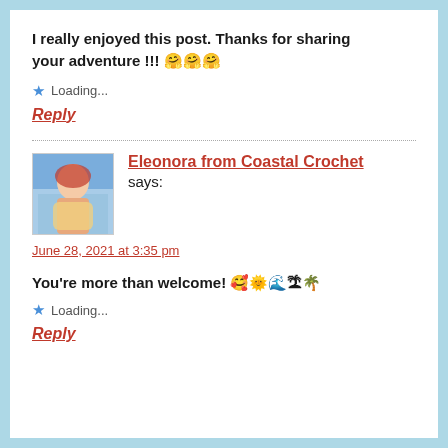I really enjoyed this post. Thanks for sharing your adventure!!! 🤗🤗🤗
★ Loading...
Reply
Eleonora from Coastal Crochet says:
June 28, 2021 at 3:35 pm
You're more than welcome! 🥰🌞🌊🏝🌴
★ Loading...
Reply